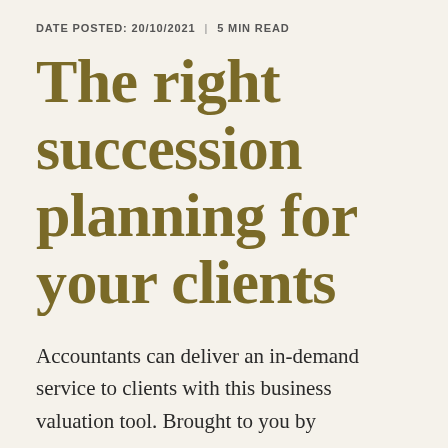DATE POSTED: 20/10/2021  |  5 MIN READ
The right succession planning for your clients
Accountants can deliver an in-demand service to clients with this business valuation tool. Brought to you by